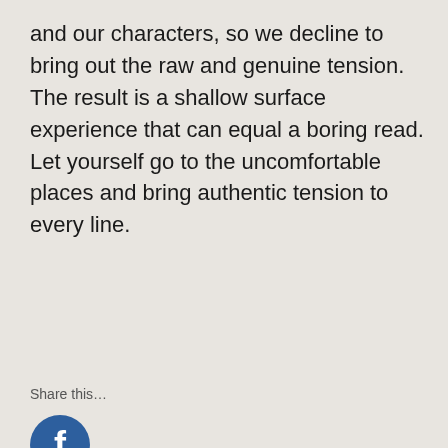and our characters, so we decline to bring out the raw and genuine tension. The result is a shallow surface experience that can equal a boring read. Let yourself go to the uncomfortable places and bring authentic tension to every line.
Share this…
[Figure (logo): Facebook circular icon - dark blue circle with white 'f' letter]
[Figure (logo): Pinterest circular icon - red circle with white 'P' letter]
[Figure (logo): Twitter circular icon - light blue circle with white bird logo]
[Figure (logo): LinkedIn circular icon - teal/dark cyan circle with white 'in' text]